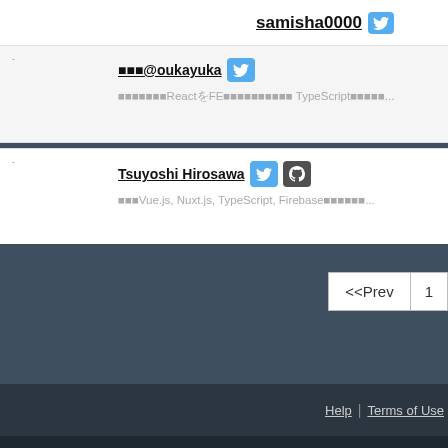samisha0000 [twitter icon]
■■■@oukayuka [twitter icon] ■■■■■■■■■ReactをFE■■■■■■■■■■ TypeScript■■■■■■...
Tsuyoshi Hirosawa [twitter icon][github icon] ■■■Vue.js, Nuxt.js, TypeScript, Firebase■■■■■■...
<<Prev 1
Help | Terms of Use